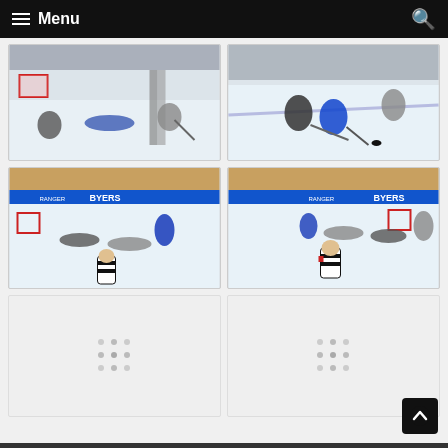Menu
[Figure (photo): Hockey players on ice near goal, one player fallen on ice, another player with stick near boards]
[Figure (photo): Hockey players battling for puck on ice, two players in dark uniforms and one in blue]
[Figure (photo): Youth hockey game with BYERS advertising banner, players on ice including a referee in stripes at bottom]
[Figure (photo): Youth hockey game with BYERS advertising banner, referee in stripes standing near goal, players on ice]
[Figure (photo): Loading placeholder with spinner dots]
[Figure (photo): Loading placeholder with spinner dots]